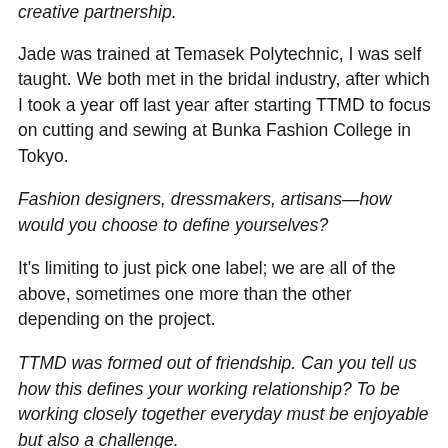creative partnership.
Jade was trained at Temasek Polytechnic, I was self taught. We both met in the bridal industry, after which I took a year off last year after starting TTMD to focus on cutting and sewing at Bunka Fashion College in Tokyo.
Fashion designers, dressmakers, artisans—how would you choose to define yourselves?
It's limiting to just pick one label; we are all of the above, sometimes one more than the other depending on the project.
TTMD was formed out of friendship. Can you tell us how this defines your working relationship? To be working closely together everyday must be enjoyable but also a challenge.